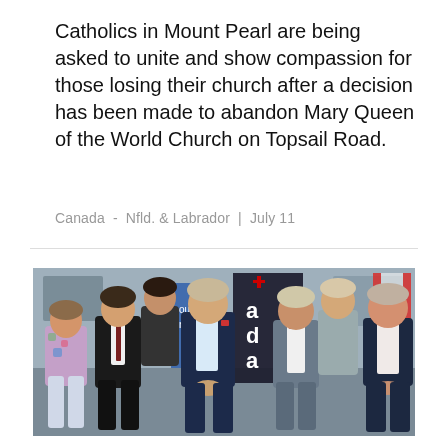Catholics in Mount Pearl are being asked to unite and show compassion for those losing their church after a decision has been made to abandon Mary Queen of the World Church on Topsail Road.
Canada  -  Nfld. & Labrador  |  July 11
[Figure (photo): Group photo of approximately 8 people (men and women) standing together indoors, posing for the camera. Behind them is a banner with the word 'Canada' and what appears to be an office or meeting room setting with framed pictures on the wall.]